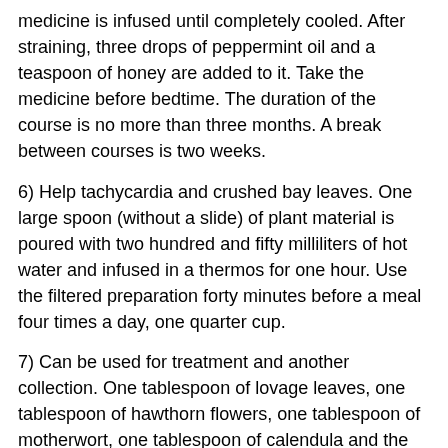medicine is infused until completely cooled. After straining, three drops of peppermint oil and a teaspoon of honey are added to it. Take the medicine before bedtime. The duration of the course is no more than three months. A break between courses is two weeks.
6) Help tachycardia and crushed bay leaves. One large spoon (without a slide) of plant material is poured with two hundred and fifty milliliters of hot water and infused in a thermos for one hour. Use the filtered preparation forty minutes before a meal four times a day, one quarter cup.
7) Can be used for treatment and another collection. One tablespoon of lovage leaves, one tablespoon of hawthorn flowers, one tablespoon of motherwort, one tablespoon of calendula and the same amount of chopped chicory root are filled with four glasses of hot water and placed in a water bath. Thus, the medicine is boiled for fifteen minutes. After cooling, it is filtered and drunk in two large spoons six times a day. The duration of the course is selected individually.